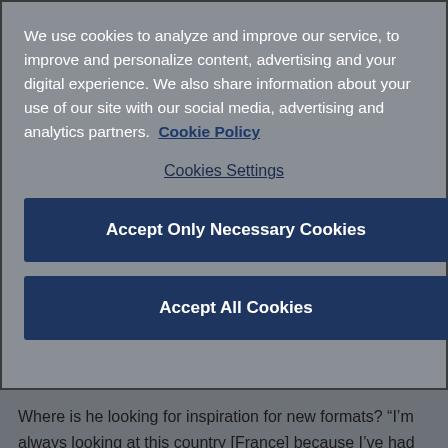We use cookies to analyze and improve our service, to improve and personalize content, advertising and your digital experience. We also share information about your use of our site with our social media, advertising and analytics partners.   Cookie Policy
Cookies Settings
Accept Only Necessary Cookies
Accept All Cookies
Where is he looking for inspiration for new formats? “I’m always looking at this country [France] because I’ve had such success here. But for me it’s also about looking in the other direction. You see something like The Masked Singer, and now everybody’s